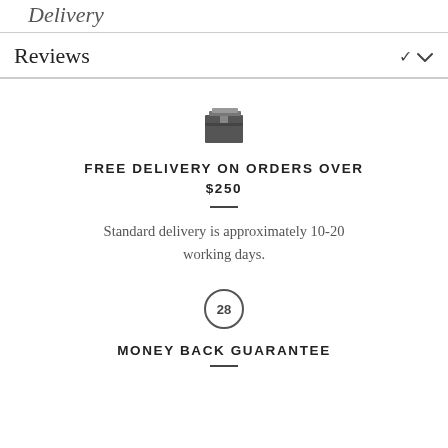Delivery
Reviews
FREE DELIVERY ON ORDERS OVER $250
Standard delivery is approximately 10-20 working days.
MONEY BACK GUARANTEE